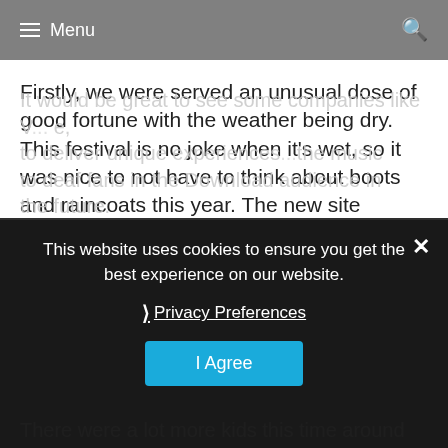Menu
Firstly, we were served an unusual dose of good fortune with the weather being dry. This festival is no joke when it's wet, so it was nice to not have to think about boots and raincoats this year. The new site changes are a huge step in the right direction to making this festival more inclusive and accessible, as well as just generally better for everyone.
It would be great to see some companies like V... to deliver unique experiences... the music to deaf fans in the Download audience in the future.
This website uses cookies to ensure you get the best experience on our website.
Privacy Preferences
I Agree
There were a lot more kids this time around